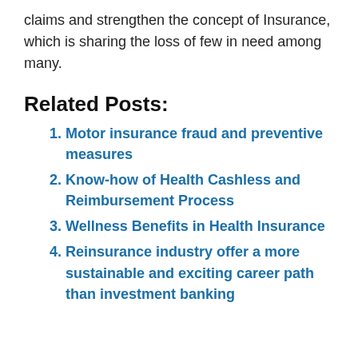claims and strengthen the concept of Insurance, which is sharing the loss of few in need among many.
Related Posts:
Motor insurance fraud and preventive measures
Know-how of Health Cashless and Reimbursement Process
Wellness Benefits in Health Insurance
Reinsurance industry offer a more sustainable and exciting career path than investment banking